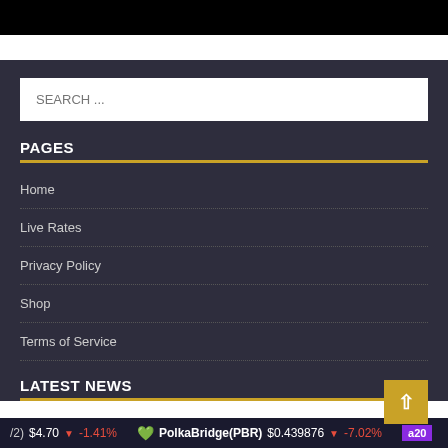[Figure (screenshot): Black banner/image at the top of the page]
SEARCH ...
PAGES
Home
Live Rates
Privacy Policy
Shop
Terms of Service
LATEST NEWS
/2) $4.70 ↓ -1.41%  PolkaBridge(PBR)  $0.439876 ↓ -7.02%  a20